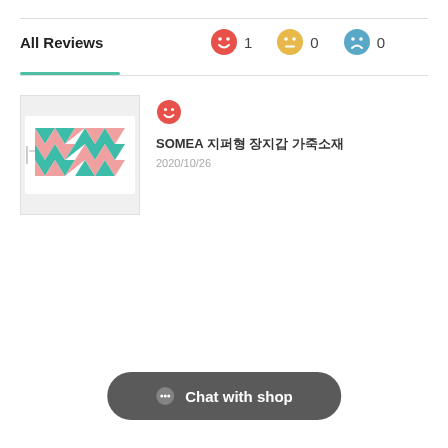All Reviews
😊 1   😐 0   😞 0
[Figure (photo): Product photo of a geometric-patterned clutch wallet with teal and pink triangle design on white background]
SOMEA 지퍼형 장지갑 가죽소재
2020/10/26
Chat with shop